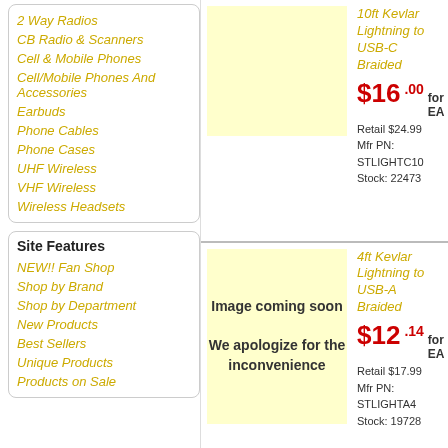2 Way Radios
CB Radio & Scanners
Cell & Mobile Phones
Cell/Mobile Phones And Accessories
Earbuds
Phone Cables
Phone Cases
UHF Wireless
VHF Wireless
Wireless Headsets
Site Features
NEW!! Fan Shop
Shop by Brand
Shop by Department
New Products
Best Sellers
Unique Products
Products on Sale
[Figure (photo): Product image placeholder - yellow background]
10ft Kevlar Lightning to USB-C Braided
$16.00 for EA
Retail $24.99
Mfr PN: STLIGHTC10
Stock: 22473
Lightn...
$11...
[Figure (photo): Image coming soon - We apologize for the inconvenience]
4ft Kevlar Lightning to USB-A Braided
$12.14 for EA
Retail $17.99
Mfr PN: STLIGHTA4
Stock: 19728
4ft US...
$7.8...